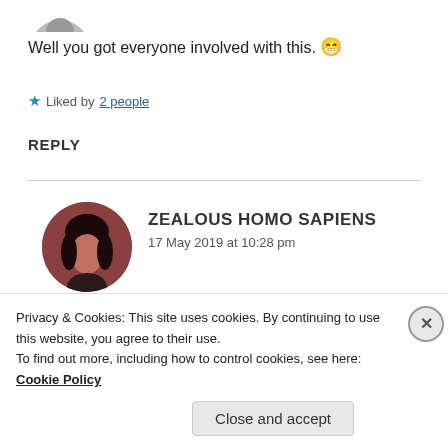[Figure (photo): Partial view of a circular avatar at the top of the page, cropped]
Well you got everyone involved with this. 😁
★ Liked by 2 people
REPLY
[Figure (photo): Circular avatar of user Zealous Homo Sapiens with dark reddish-brown tones showing a person with dark hair]
ZEALOUS HOMO SAPIENS
17 May 2019 at 10:28 pm
Thank you so much, Samyak. You really warmed
Privacy & Cookies: This site uses cookies. By continuing to use this website, you agree to their use.
To find out more, including how to control cookies, see here: Cookie Policy
Close and accept